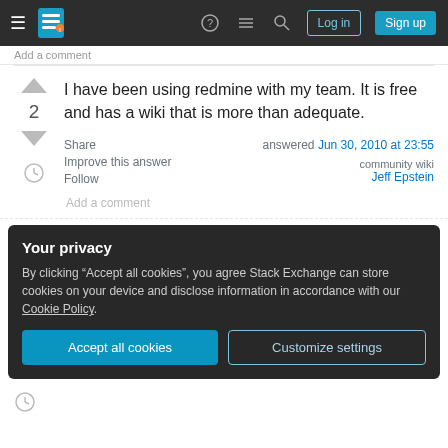Stack Exchange navigation bar with hamburger menu, logo, help, chat, search, Log in, Sign up buttons
I have been using redmine with my team. It is free and has a wiki that is more than adequate.
Share  answered Jun 30, 2010 at 23:55
Improve this answer
Follow
community wiki
Jeff Epstein
Add a comment
Your privacy
By clicking “Accept all cookies”, you agree Stack Exchange can store cookies on your device and disclose information in accordance with our Cookie Policy.
Accept all cookies  Customize settings